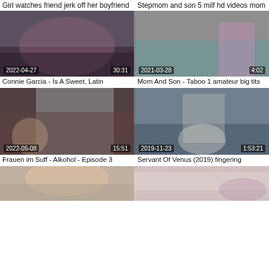Girl watches friend jerk off her boyfriend
[Figure (photo): Video thumbnail, date 2022-04-27, duration 30:31]
Connie Garcia - Is A Sweet, Latin
Stepmom and son 5 milf hd videos mom
[Figure (photo): Video thumbnail, date 2021-03-28, duration 4:02]
Mom And Son - Taboo 1 amateur big tits
[Figure (photo): Video thumbnail, date 2022-05-08, duration 15:51]
Frauen im Suff - Alkohol - Episode 3
[Figure (photo): Video thumbnail, date 2019-11-23, duration 1:53:21]
Servant Of Venus (2019) fingering
[Figure (photo): Video thumbnail, partial, bottom left]
[Figure (photo): Video thumbnail, partial, bottom right]